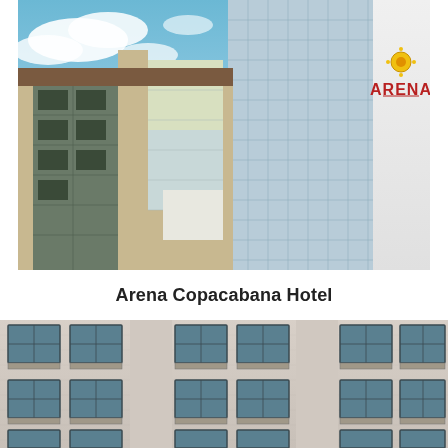[Figure (photo): Exterior rendering of Arena Copacabana Hotel building facade with glass windows and Arena logo on white pillar against blue sky]
Arena Copacabana Hotel
[Figure (photo): Close-up photo of a light-colored building facade showing multiple floors with rectangular windows and small balconies]